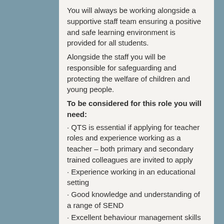You will always be working alongside a supportive staff team ensuring a positive and safe learning environment is provided for all students.
Alongside the staff you will be responsible for safeguarding and protecting the welfare of children and young people.
To be considered for this role you will need:
· QTS is essential if applying for teacher roles and experience working as a teacher – both primary and secondary trained colleagues are invited to apply
· Experience working in an educational setting
· Good knowledge and understanding of a range of SEND
· Excellent behaviour management skills
· A flexible approach and positive attitude
Additional requirements:
o References confirming suitability for role